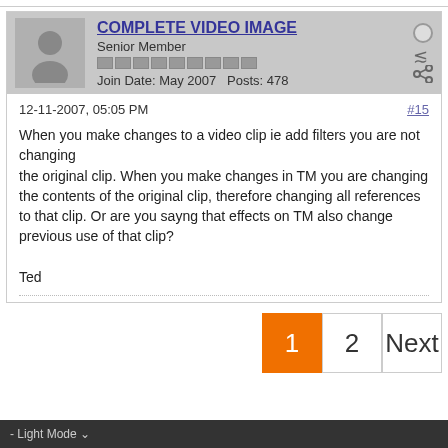COMPLETE VIDEO IMAGE — Senior Member — Join Date: May 2007 — Posts: 478
12-11-2007, 05:05 PM  #15
When you make changes to a video clip ie add filters you are not changing
the original clip. When you make changes in TM you are changing the contents of the original clip, therefore changing all references to that clip. Or are you sayng that effects on TM also change previous use of that clip?

Ted
- Light Mode ∨